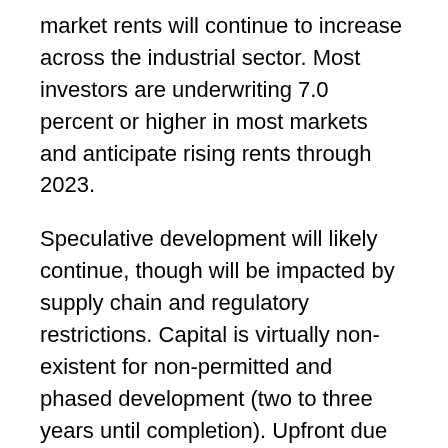market rents will continue to increase across the industrial sector. Most investors are underwriting 7.0 percent or higher in most markets and anticipate rising rents through 2023.
Speculative development will likely continue, though will be impacted by supply chain and regulatory restrictions. Capital is virtually non-existent for non-permitted and phased development (two to three years until completion). Upfront due diligence for construction debt is becoming far more robust, with more focus on appraisals and underwriting assumptions.
Capital markets underwriting has changed